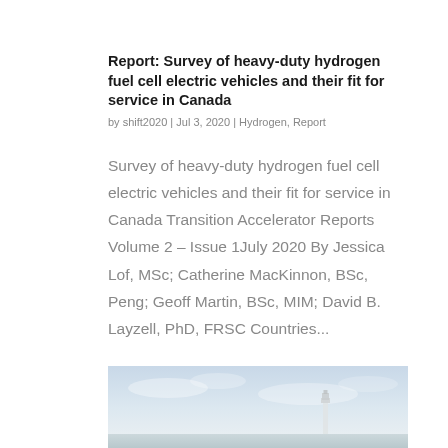Report: Survey of heavy-duty hydrogen fuel cell electric vehicles and their fit for service in Canada
by shift2020 | Jul 3, 2020 | Hydrogen, Report
Survey of heavy-duty hydrogen fuel cell electric vehicles and their fit for service in Canada Transition Accelerator Reports Volume 2 – Issue 1July 2020 By Jessica Lof, MSc; Catherine MacKinnon, BSc, Peng; Geoff Martin, BSc, MIM; David B. Layzell, PhD, FRSC Countries...
[Figure (photo): Outdoor photo showing a pale blue sky with a lighthouse or tower structure faintly visible, taken at low angle.]